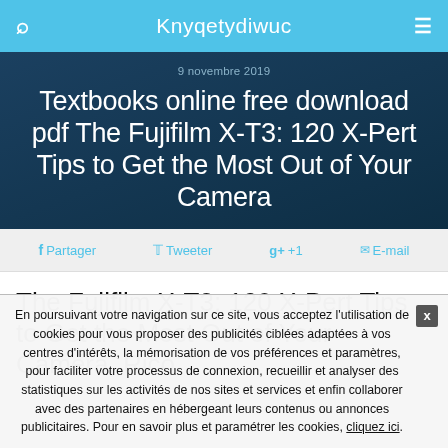Knyqetydiwuc
9 novembre 2019
Textbooks online free download pdf The Fujifilm X-T3: 120 X-Pert Tips to Get the Most Out of Your Camera
Partager  Tweeter  g+ +1  E-mail
The Fujifilm X-T3: 120 X-Pert Tips to Get the Most Out of Your Camera, Rico
En poursuivant votre navigation sur ce site, vous acceptez l'utilisation de cookies pour vous proposer des publicités ciblées adaptées à vos centres d'intérêts, la mémorisation de vos préférences et paramètres, pour faciliter votre processus de connexion, recueillir et analyser des statistiques sur les activités de nos sites et services et enfin collaborer avec des partenaires en hébergeant leurs contenus ou annonces publicitaires. Pour en savoir plus et paramétrer les cookies, cliquez ici.